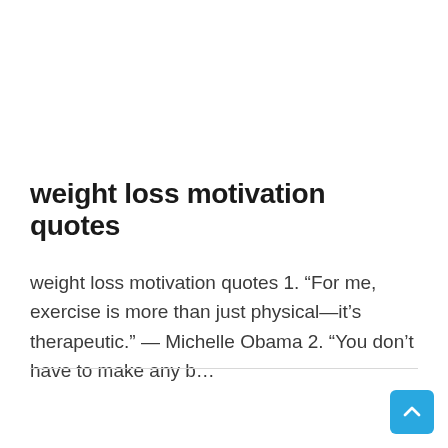weight loss motivation quotes
weight loss motivation quotes 1. “For me, exercise is more than just physical—it’s therapeutic.” — Michelle Obama 2. “You don’t have to make any b…